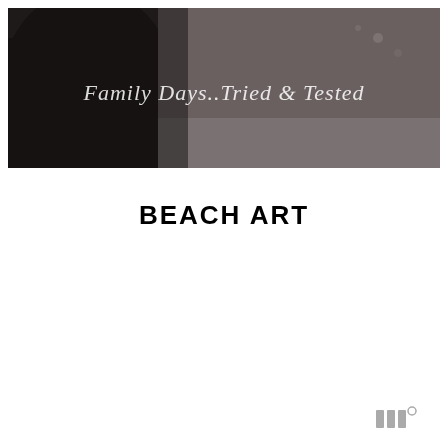[Figure (photo): Dark moody photo of a person/silhouette at a beach or outdoor scene, with the text overlay 'Family Days..Tried & Tested' in white italic font]
BEACH ART
[Figure (logo): Small grey logo resembling three vertical bars with a superscript circle, resembling a Minted or similar brand mark]